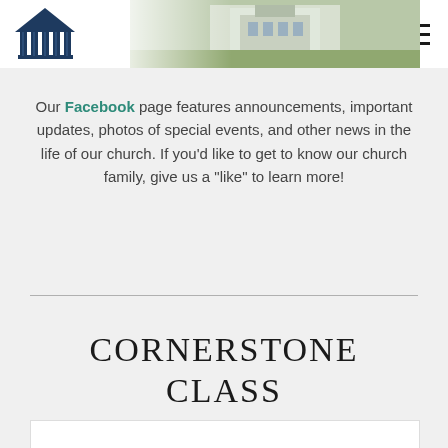[Figure (logo): Church building logo with columned structure in dark navy blue]
[Figure (photo): Faded background photo of a church building exterior with green lawn]
Our Facebook page features announcements, important updates, photos of special events, and other news in the life of our church. If you'd like to get to know our church family, give us a "like" to learn more!
CORNERSTONE CLASS